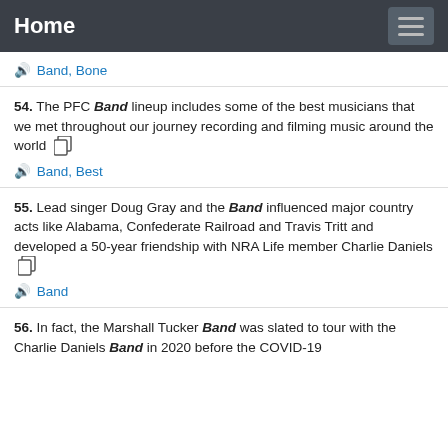Home
Band, Bone
54. The PFC Band lineup includes some of the best musicians that we met throughout our journey recording and filming music around the world
Band, Best
55. Lead singer Doug Gray and the Band influenced major country acts like Alabama, Confederate Railroad and Travis Tritt and developed a 50-year friendship with NRA Life member Charlie Daniels
Band
56. In fact, the Marshall Tucker Band was slated to tour with the Charlie Daniels Band in 2020 before the COVID-19